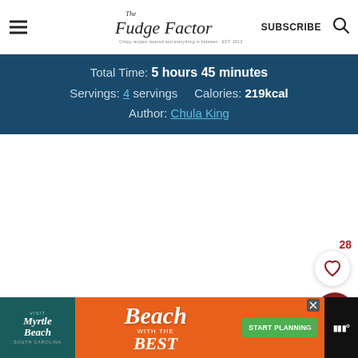The Fudge Factor - SUBSCRIBE
Total Time: 5 hours 45 minutes
Servings: 4 servings    Calories: 219kcal
Author: Chula King
[Figure (other): White/blank content area placeholder]
28
[Figure (other): Heart/like button and search button widgets on right side]
[Figure (other): Advertisement banner: Visit Myrtle Beach South Carolina - Beach with the Best - START PLANNING]